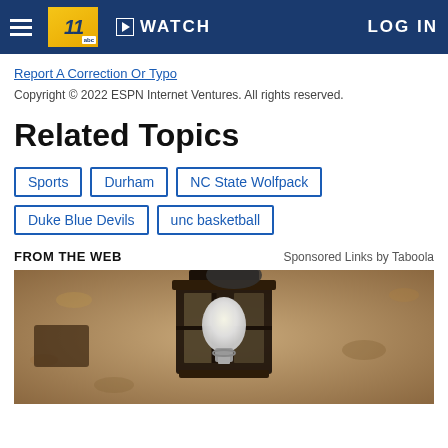WATCH  LOG IN
Report A Correction Or Typo
Copyright © 2022 ESPN Internet Ventures. All rights reserved.
Related Topics
Sports
Durham
NC State Wolfpack
Duke Blue Devils
unc basketball
FROM THE WEB
Sponsored Links by Taboola
[Figure (photo): Outdoor wall-mounted lantern light fixture with a white bulb, photographed in sepia/warm tones against a textured stucco wall]